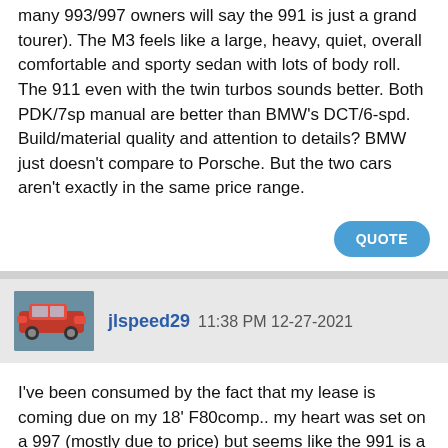many 993/997 owners will say the 991 is just a grand tourer). The M3 feels like a large, heavy, quiet, overall comfortable and sporty sedan with lots of body roll. The 911 even with the twin turbos sounds better. Both PDK/7sp manual are better than BMW's DCT/6-spd. Build/material quality and attention to details? BMW just doesn't compare to Porsche. But the two cars aren't exactly in the same price range.
QUOTE
jlspeed29 11:38 PM 12-27-2021
I've been consumed by the fact that my lease is coming due on my 18' F80comp.. my heart was set on a 997 (mostly due to price) but seems like the 991 is a better fit... i love driving and also like creature comforts.. the f80comp checks those boxes, but i still find myself lusting after a 911.... thanks for the comments above^